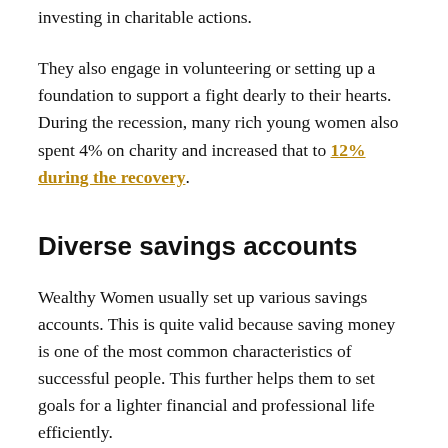investing in charitable actions.
They also engage in volunteering or setting up a foundation to support a fight dearly to their hearts. During the recession, many rich young women also spent 4% on charity and increased that to 12% during the recovery.
Diverse savings accounts
Wealthy Women usually set up various savings accounts. This is quite valid because saving money is one of the most common characteristics of successful people. This further helps them to set goals for a lighter financial and professional life efficiently.